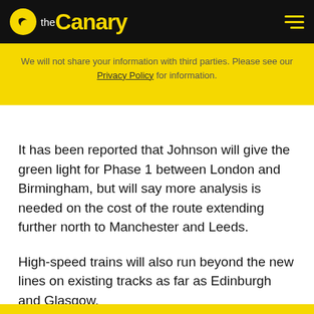the Canary
We will not share your information with third parties. Please see our Privacy Policy for information.
It has been reported that Johnson will give the green light for Phase 1 between London and Birmingham, but will say more analysis is needed on the cost of the route extending further north to Manchester and Leeds.
High-speed trains will also run beyond the new lines on existing tracks as far as Edinburgh and Glasgow.
Conservative MPs in seats along the route south of Birmingham are among those who are angry over HS2's cost and impact on the environment.